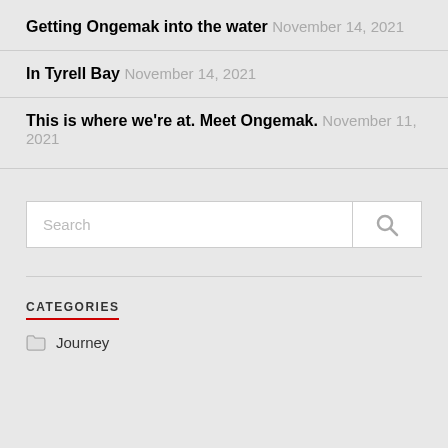Getting Ongemak into the water November 14, 2021
In Tyrell Bay November 14, 2021
This is where we're at. Meet Ongemak. November 11, 2021
[Figure (other): Search bar with search icon button]
CATEGORIES
Journey